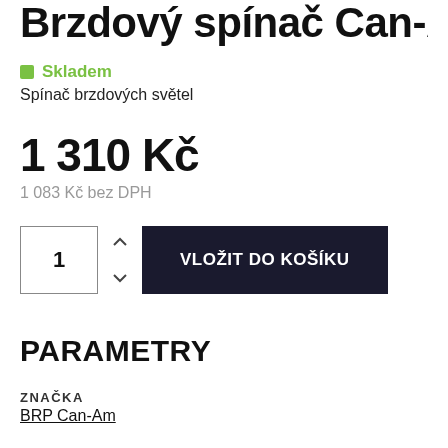Brzdový spínač Can-Am
✓ Skladem
Spínač brzdových světel
1 310 Kč
1 083 Kč bez DPH
1  [VLOŽIT DO KOŠÍKU]
PARAMETRY
ZNAČKA
BRP Can-Am
POPIS PRODUKTU